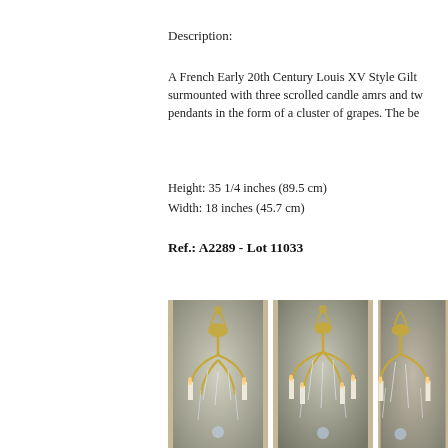Description:
A French Early 20th Century Louis XV Style Gilt surmounted with three scrolled candle amrs and tw pendants in the form of a cluster of grapes. The be
Height: 35 1/4 inches (89.5 cm)
Width: 18 inches (45.7 cm)
Ref.: A2289 - Lot 11033
[Figure (photo): Three photographs of a French Early 20th Century Louis XV Style Gilt crystal chandelier from different angles, showing scrolled arms and crystal pendants.]